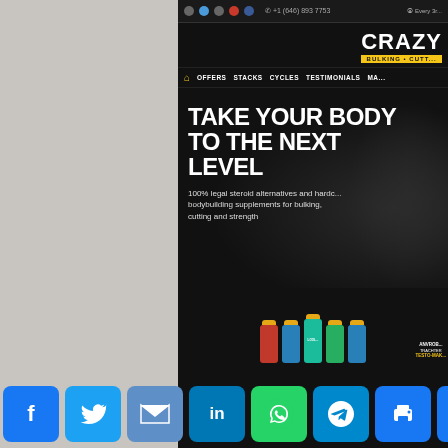[Figure (screenshot): Screenshot of CrazyBulk website showing hero section with tagline 'TAKE YOUR BODY TO THE NEXT LEVEL' and subtitle '100% legal steroid alternatives and hardcore bodybuilding supplements for bulking, cutting and strength'. Navigation bar shows OFFERS, STACKS, CYCLES, TESTIMONIALS. Product supplement bottles visible at bottom. Social share bar at very bottom with Facebook, Twitter, Email, LinkedIn, WhatsApp, Telegram, Print, and More buttons.]